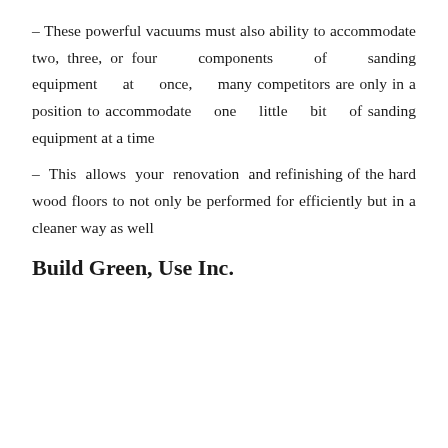– These powerful vacuums must also ability to accommodate two, three, or four components of sanding equipment at once, many competitors are only in a position to accommodate one little bit of sanding equipment at a time
– This allows your renovation and refinishing of the hard wood floors to not only be performed for efficiently but in a cleaner way as well
Build Green, Use Inc.